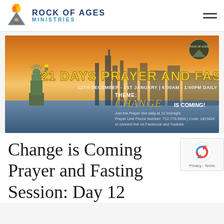ROCK OF AGES MINISTRIES
[Figure (photo): Promotional banner for 21 Days Prayer and Fasting event, showing Statue of Liberty with NYC skyline at sunset, with text: 21 DAYS PRAYER AND FASTING, 12TH DECEMBER - 1ST JANUARY | 6:00AM - 1:00PM DAILY, THEME: CHANGE IS COMING!, Join the Prayer line daily at 12 midnight, Prayer Line Phone Number: 712-770-5600 | Code: 181562#, or connect live on Facebook and Youtube]
Change is Coming Prayer and Fasting Session: Day 12